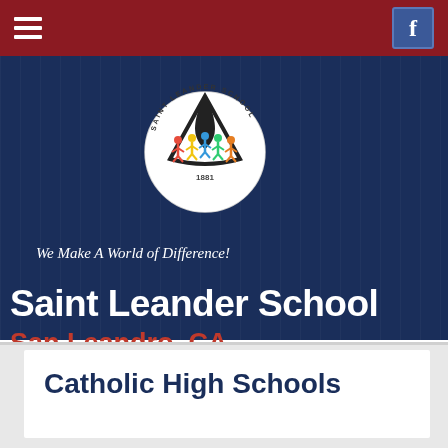[Figure (screenshot): School website screenshot showing Saint Leander School header with navigation bar, school seal/logo, tagline, school name, location, and Catholic High Schools section]
Saint Leander School
San Leandro, CA
We Make A World of Difference!
Catholic High Schools